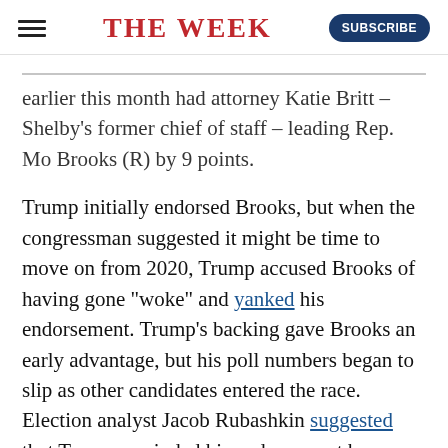THE WEEK
earlier this month had attorney Katie Britt – Shelby's former chief of staff – leading Rep. Mo Brooks (R) by 9 points.
Trump initially endorsed Brooks, but when the congressman suggested it might be time to move on from 2020, Trump accused Brooks of having gone "woke" and yanked his endorsement. Trump's backing gave Brooks an early advantage, but his poll numbers began to slip as other candidates entered the race. Election analyst Jacob Rubashkin suggested that Trump rescinded his endorsement because Brooks "blew a 44-point lead," not because of Brooks' comment about 2020.